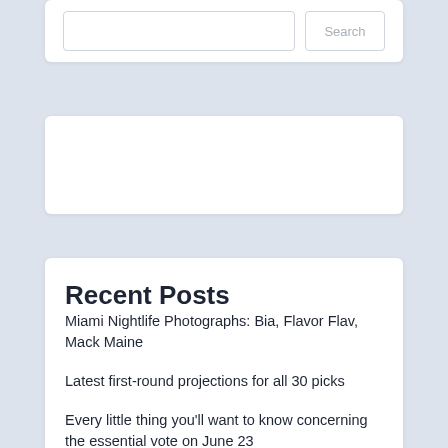Recent Posts
Miami Nightlife Photographs: Bia, Flavor Flav, Mack Maine
Latest first-round projections for all 30 picks
Every little thing you'll want to know concerning the essential vote on June 23